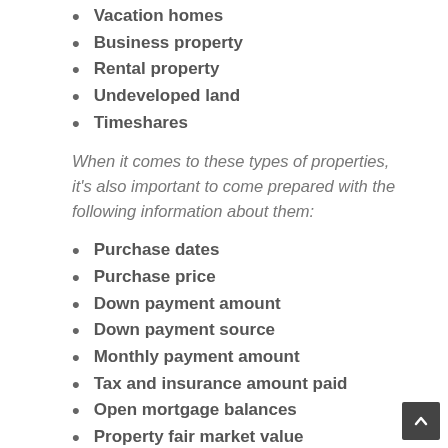Vacation homes
Business property
Rental property
Undeveloped land
Timeshares
When it comes to these types of properties, it's also important to come prepared with the following information about them:
Purchase dates
Purchase price
Down payment amount
Down payment source
Monthly payment amount
Tax and insurance amount paid
Open mortgage balances
Property fair market value